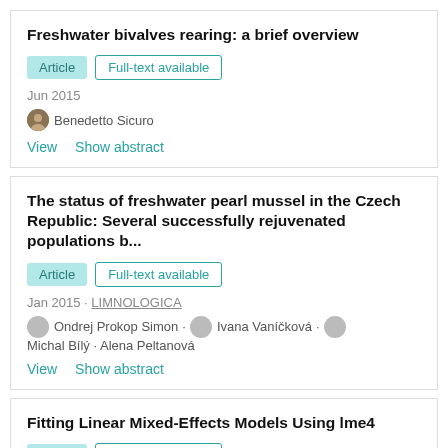Freshwater bivalves rearing: a brief overview
Article | Full-text available
Jun 2015
Benedetto Sicuro
View   Show abstract
The status of freshwater pearl mussel in the Czech Republic: Several successfully rejuvenated populations b...
Article | Full-text available
Jan 2015 · LIMNOLOGICA
Ondrej Prokop Simon · Ivana Vaníčková · Michal Bílý · Alena Peltanová
View   Show abstract
Fitting Linear Mixed-Effects Models Using lme4
Article | Full-text available
Jun 2014 · J STAT SOFTW